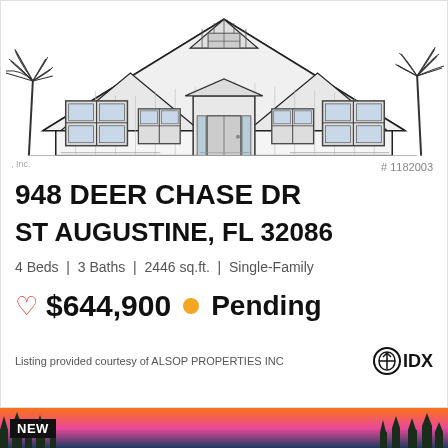[Figure (illustration): Architectural line drawing / elevation of a single-family home with gabled roof, multiple windows, front door with portico, and palm trees on either side]
, Inc.
# 1182003
948 DEER CHASE DR
ST AUGUSTINE, FL 32086
4 Beds | 3 Baths | 2446 sq.ft. | Single-Family
♡ $644,900 ● Pending
Listing provided courtesy of ALSOP PROPERTIES INC
[Figure (photo): Photo of a sunset sky with orange and pink hues over a treeline, tagged NEW]